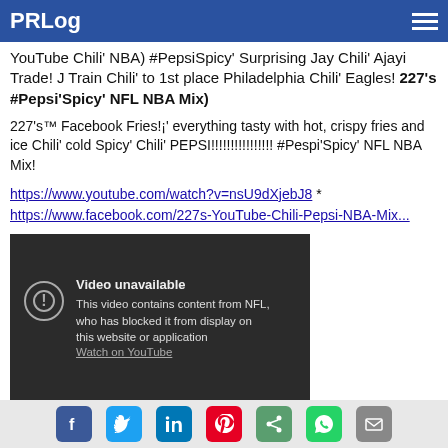PRLog
YouTube Chili' NBA) #PepsiSpicy' Surprising Jay Chili' Ajayi Trade! J Train Chili' to 1st place Philadelphia Chili' Eagles! 227's #Pepsi'Spicy' NFL NBA Mix)
227's™ Facebook Fries!¡' everything tasty with hot, crispy fries and ice Chili' cold Spicy' Chili' PEPSI!!!!!!!!!!!!!!!! #Pespi'Spicy' NFL NBA Mix!
https://www.youtube.com/watch?v=nsU9dXjebJ8 * https://www.facebook.com/227s-YouTube-Chili-Pepsi-NBA-Mix...
[Figure (screenshot): YouTube video player showing 'Video unavailable' message. Text reads: 'Video unavailable. This video contains content from NFL, who has blocked it from display on this website or application. Watch on YouTube']
Social share icons: Facebook, Twitter, LinkedIn, Pinterest, Share, WhatsApp, Email